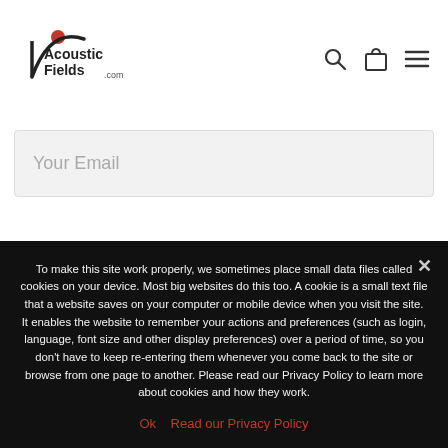[Figure (logo): Acoustic Fields .com logo with red dot and arc]
[Figure (infographic): Navigation icons: search magnifier, shopping bag, hamburger menu]
Your Email
Yes, I have read & agree to Acoustic Fields' privacy policy.
To make this site work properly, we sometimes place small data files called cookies on your device. Most big websites do this too. A cookie is a small text file that a website saves on your computer or mobile device when you visit the site. It enables the website to remember your actions and preferences (such as login, language, font size and other display preferences) over a period of time, so you don't have to keep re-entering them whenever you come back to the site or browse from one page to another. Please read our Privacy Policy to learn more about cookies and how they work.
Ok   Read our Privacy Policy